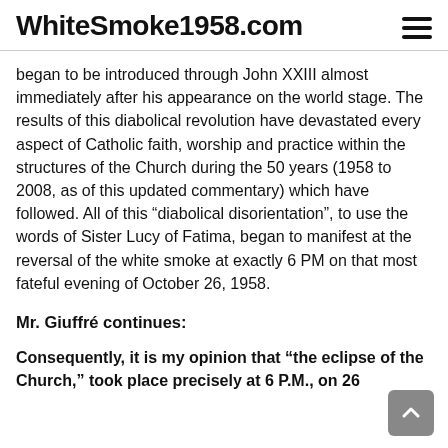WhiteSmoke1958.com
began to be introduced through John XXIII almost immediately after his appearance on the world stage. The results of this diabolical revolution have devastated every aspect of Catholic faith, worship and practice within the structures of the Church during the 50 years (1958 to 2008, as of this updated commentary) which have followed. All of this “diabolical disorientation”, to use the words of Sister Lucy of Fatima, began to manifest at the reversal of the white smoke at exactly 6 PM on that most fateful evening of October 26, 1958.
Mr. Giuffré continues:
Consequently, it is my opinion that “the eclipse of the Church,” took place precisely at 6 P.M., on 26